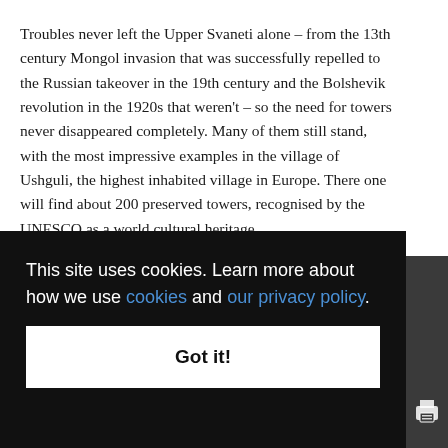Troubles never left the Upper Svaneti alone – from the 13th century Mongol invasion that was successfully repelled to the Russian takeover in the 19th century and the Bolshevik revolution in the 1920s that weren't – so the need for towers never disappeared completely. Many of them still stand, with the most impressive examples in the village of Ushguli, the highest inhabited village in Europe. There one will find about 200 preserved towers, recognised by the UNESCO as a world cultural heritage.
This site uses cookies. Learn more about how we use cookies and our privacy policy.
Got it!